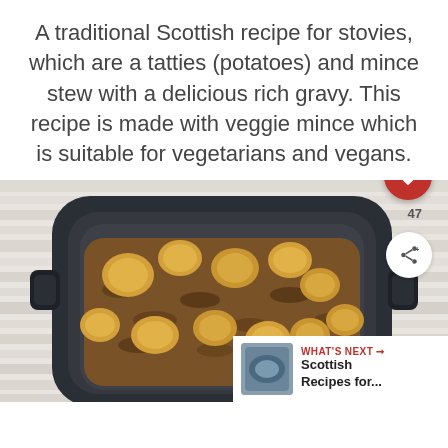A traditional Scottish recipe for stovies, which are a tatties (potatoes) and mince stew with a delicious rich gravy. This recipe is made with veggie mince which is suitable for vegetarians and vegans.
[Figure (photo): A dark slow cooker / casserole dish filled with stovies — potatoes and mince in a rich brown gravy, viewed from above on a white wooden surface. Overlaid UI elements include a red heart/like button (47 likes), a share button, and a 'What's Next' banner in the bottom right showing Scottish Recipes.]